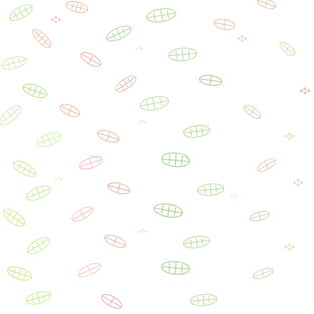[Figure (illustration): Background pattern of scattered illustrated wine leaves and grape elements in light green, red, orange, and pink colors on white background]
CALIFORNIA PINO
OREGON PINOT N
MOSTLY 2004 CA
WASHINGTON ST
2004 NORTHERN
2001 BRUNELLO
2001 CALIFORNIA
2003 CALIFORNIA
2003 CHATEAUNE
OLDER TUSCAN R
September 20, 20
2003 NAPA CABE
2003 SAINT EMILI
CALIFORNIA SYR